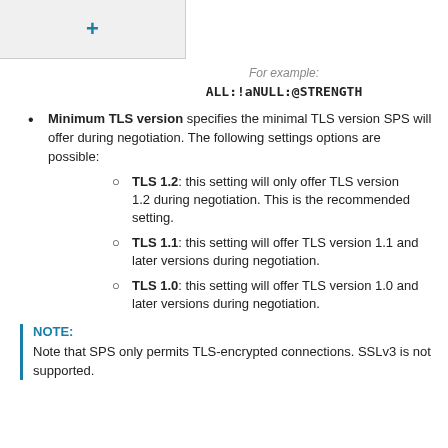+
For example:
ALL:!aNULL:@STRENGTH
Minimum TLS version specifies the minimal TLS version SPS will offer during negotiation. The following settings options are possible:
TLS 1.2: this setting will only offer TLS version 1.2 during negotiation. This is the recommended setting.
TLS 1.1: this setting will offer TLS version 1.1 and later versions during negotiation.
TLS 1.0: this setting will offer TLS version 1.0 and later versions during negotiation.
NOTE:
Note that SPS only permits TLS-encrypted connections. SSLv3 is not supported.